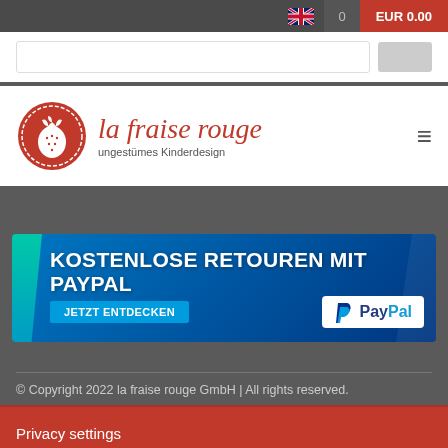EUR 0.00
[Figure (logo): la fraise rouge logo — red circle with strawberry illustration, script text 'la fraise rouge' in red, subtitle 'ungestümes Kinderdesign']
[Figure (infographic): PayPal promotional banner: 'KOSTENLOSE RETOUREN MIT PAYPAL' with button 'JETZT ENTDECKEN' and PayPal logo on blue background]
© Copyright 2022 la fraise rouge GmbH | All rights reserved.
Privacy settings